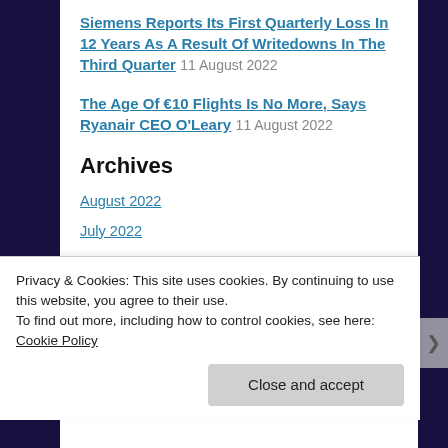Siemens Reports Its First Quarterly Loss In 12 Years As A Result Of Writedowns In The Third Quarter 11 August 2022
The Age Of €10 Flights Is No More, Says Ryanair CEO O'Leary 11 August 2022
Archives
August 2022
July 2022
June 2022
May 2022
Privacy & Cookies: This site uses cookies. By continuing to use this website, you agree to their use.
To find out more, including how to control cookies, see here: Cookie Policy